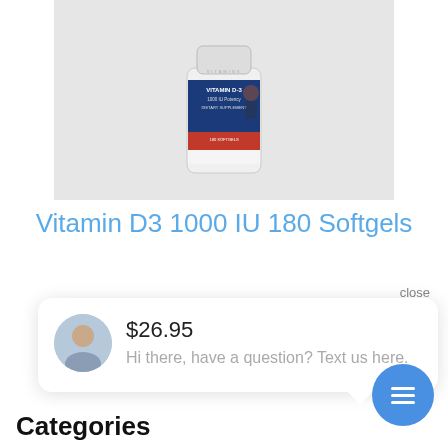[Figure (photo): Product photo of a Vitamin D-3 supplement bottle (white bottle with blue and red label, 180 softgels), shown on a light gray background.]
Vitamin D3 1000 IU 180 Softgels
close
[Figure (screenshot): Live chat popup widget showing a female avatar photo, price $26.95, and the message 'Hi there, have a question? Text us here.' with a blue chat button in the bottom right.]
Categories